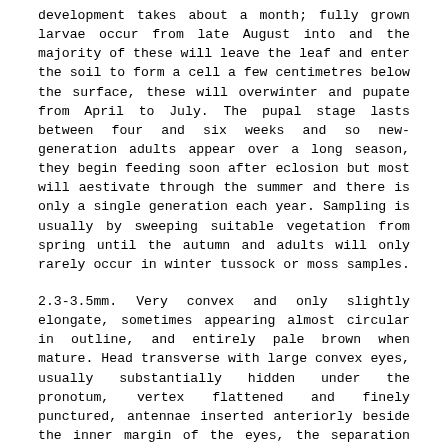development takes about a month; fully grown larvae occur from late August into and the majority of these will leave the leaf and enter the soil to form a cell a few centimetres below the surface, these will overwinter and pupate from April to July. The pupal stage lasts between four and six weeks and so new-generation adults appear over a long season, they begin feeding soon after eclosion but most will aestivate through the summer and there is only a single generation each year. Sampling is usually by sweeping suitable vegetation from spring until the autumn and adults will only rarely occur in winter tussock or moss samples.
2.3-3.5mm. Very convex and only slightly elongate, sometimes appearing almost circular in outline, and entirely pale brown when mature. Head transverse with large convex eyes, usually substantially hidden under the pronotum, vertex flattened and finely punctured, antennae inserted anteriorly beside the inner margin of the eyes, the separation slightly less than the basal segment. Antennae 11 segmented